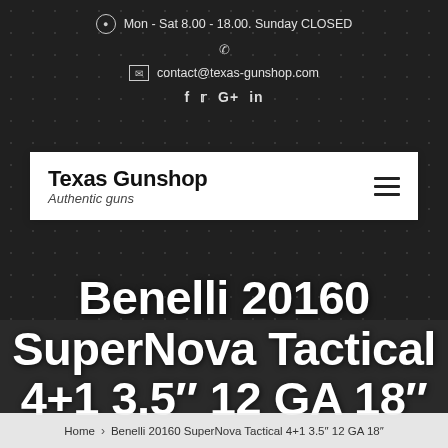Mon - Sat 8.00 - 18.00. Sunday CLOSED
contact@texas-gunshop.com
f ⓨ G+ in
Texas Gunshop
Authentic guns
Benelli 20160 SuperNova Tactical 4+1 3.5″ 12 GA 18″
Home › Benelli 20160 SuperNova Tactical 4+1 3.5″ 12 GA 18″